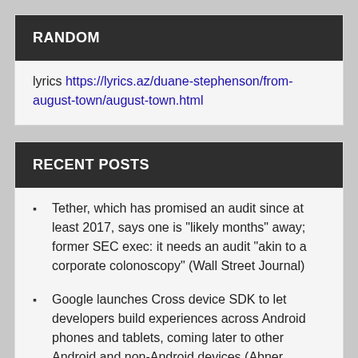RANDOM
lyrics https://lyrics.az/duane-stephenson/from-august-town/august-town.html
RECENT POSTS
Tether, which has promised an audit since at least 2017, says one is “likely months” away; former SEC exec: it needs an audit “akin to a corporate colonoscopy” (Wall Street Journal)
Google launches Cross device SDK to let developers build experiences across Android phones and tablets, coming later to other Android and non-Android devices (Abner Li/9to5Google)
Peiter Zatko’s whistleblower report is framed as though it supports Musk’s claims that